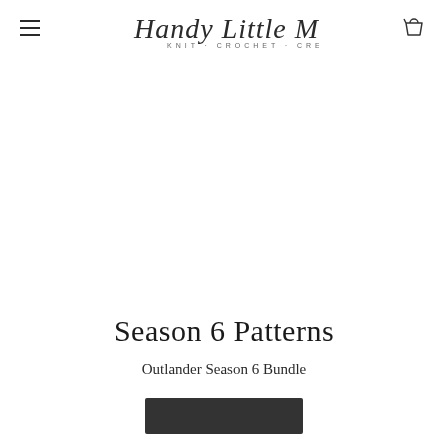Handy Little Me — KNIT · CROCHET · CREATE
Season 6 Patterns
Outlander Season 6 Bundle